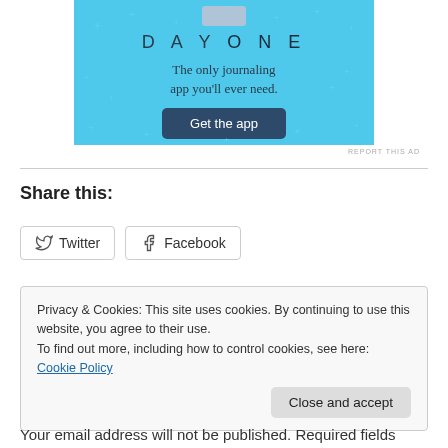[Figure (illustration): Day One journaling app advertisement banner with light blue background, star decorations, app icon, title 'DAY ONE', tagline 'The only journaling app you'll ever need.', and a dark blue 'Get the app' button]
REPORT THIS AD
Share this:
Twitter  Facebook
Privacy & Cookies: This site uses cookies. By continuing to use this website, you agree to their use.
To find out more, including how to control cookies, see here: Cookie Policy
Close and accept
Your email address will not be published. Required fields